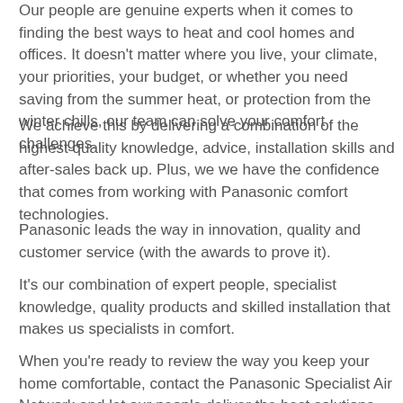Our people are genuine experts when it comes to finding the best ways to heat and cool homes and offices. It doesn't matter where you live, your climate, your priorities, your budget, or whether you need saving from the summer heat, or protection from the winter chills, our team can solve your comfort challenges.
We achieve this by delivering a combination of the highest quality knowledge, advice, installation skills and after-sales back up. Plus, we we have the confidence that comes from working with Panasonic comfort technologies.
Panasonic leads the way in innovation, quality and customer service (with the awards to prove it).
It's our combination of expert people, specialist knowledge, quality products and skilled installation that makes us specialists in comfort.
When you're ready to review the way you keep your home comfortable, contact the Panasonic Specialist Air Network and let our people deliver the best solutions for your home.